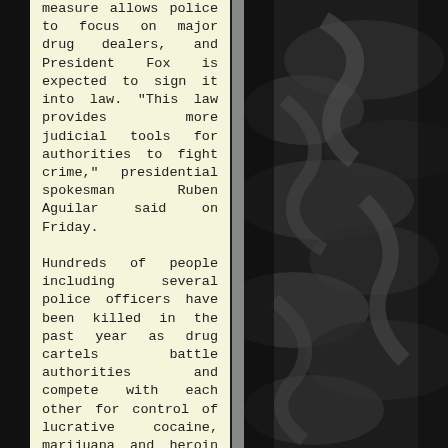measure allows police to focus on major drug dealers, and President Fox is expected to sign it into law. "This law provides more judicial tools for authorities to fight crime," presidential spokesman Ruben Aguilar said on Friday.
Hundreds of people including several police officers have been killed in the past year as drug cartels battle authorities and compete with each other for control of lucrative cocaine, marijuana and heroin smuggling
[Figure (photo): Dark black and white photograph showing draped or folded fabric with deep shadows and highlights, creating an abstract texture pattern.]